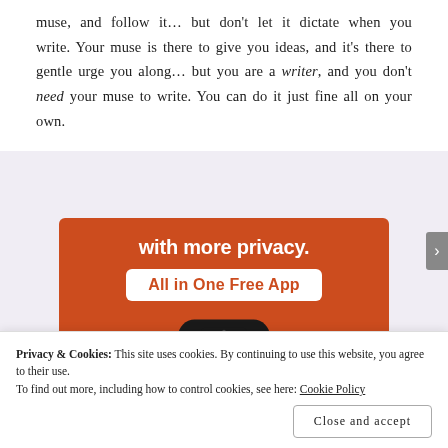muse, and follow it… but don't let it dictate when you write. Your muse is there to give you ideas, and it's there to gentle urge you along… but you are a writer, and you don't need your muse to write. You can do it just fine all on your own.
[Figure (illustration): DuckDuckGo advertisement banner. Orange background with text 'with more privacy.' and 'All in One Free App' on a white badge. Below is a smartphone showing the DuckDuckGo duck logo.]
Privacy & Cookies: This site uses cookies. By continuing to use this website, you agree to their use.
To find out more, including how to control cookies, see here: Cookie Policy
Close and accept